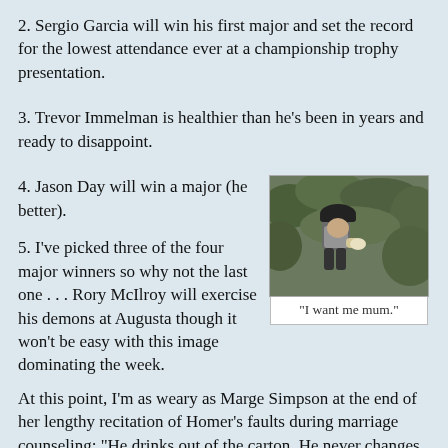2.  Sergio Garcia will win his first major and set the record for the lowest attendance ever at a championship trophy presentation.
3.  Trevor Immelman is healthier than he's been in years and ready to disappoint.
4.  Jason Day will win a major (he better).
[Figure (photo): A golfer crouching or hunching over, wearing a dark cap and grey shirt, with greenery in the background.]
"I want me mum."
5.  I've picked three of the four major winners so why not the last one . . . Rory McIlroy will exercise his demons at Augusta though it won't be easy with this image dominating the week.
At this point, I'm as weary as Marge Simpson at the end of her lengthy recitation of Homer's faults during marriage counseling:  "He drinks out of the carton.  He never changes the baby.  When he goes to sleep, he makes chewing noises.  When he wakes up, he makes honking noises.  Oh, oh, and he scratches himself with his keys.  I guess that's it . . . oh, no, wait.  He kicks